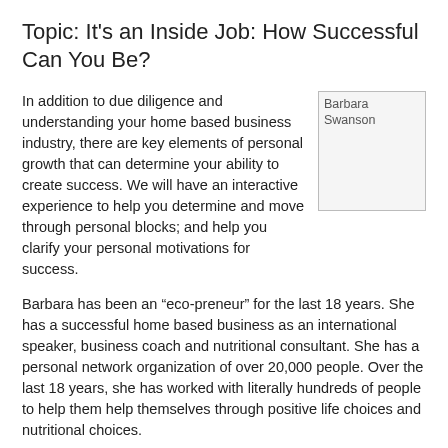Topic: It's an Inside Job: How Successful Can You Be?
In addition to due diligence and understanding your home based business industry, there are key elements of personal growth that can determine your ability to create success. We will have an interactive experience to help you determine and move through personal blocks; and help you clarify your personal motivations for success.
[Figure (photo): Photo of Barbara Swanson]
Barbara has been an “eco-preneur” for the last 18 years. She has a successful home based business as an international speaker, business coach and nutritional consultant. She has a personal network organization of over 20,000 people. Over the last 18 years, she has worked with literally hundreds of people to help them help themselves through positive life choices and nutritional choices.
PROGRAM SCHEDULE:
5:30 Networking
6:00 Dinner and Introductions
6:45 Business Spotlight